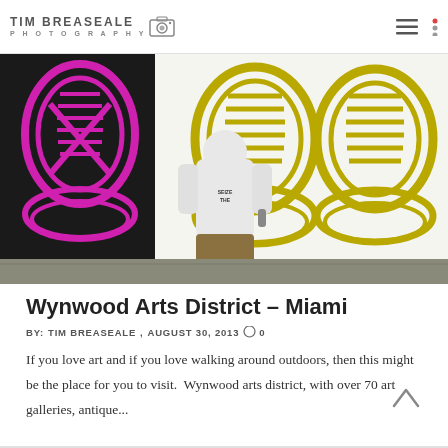TIM BREASEALE PHOTOGRAPHY
[Figure (photo): A street artist painting a large mural of sneaker/shoe designs in pink/magenta and yellow-green on a white wall. The artist wears a white hoodie and khaki shorts, viewed from behind.]
Wynwood Arts District – Miami
BY: TIM BREASEALE ,  AUGUST 30, 2013  0
If you love art and if you love walking around outdoors, then this might be the place for you to visit.  Wynwood arts district, with over 70 art galleries, antique...